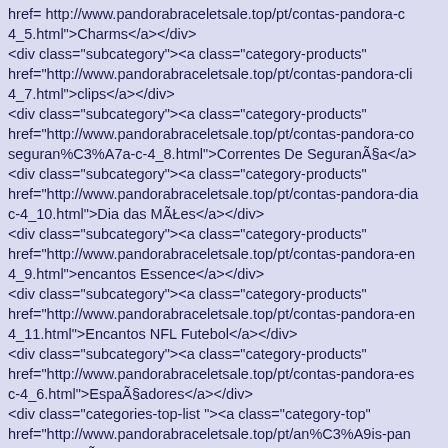href= http://www.pandorabraceletsale.top/pt/contas-pandora-ch 4_5.html">Charms</a></div>
<div class="subcategory"><a class="category-products" href="http://www.pandorabraceletsale.top/pt/contas-pandora-cli 4_7.html">clips</a></div>
<div class="subcategory"><a class="category-products" href="http://www.pandorabraceletsale.top/pt/contas-pandora-co seguran%C3%A7a-c-4_8.html">Correntes De SeguranÃ§a</a>
<div class="subcategory"><a class="category-products" href="http://www.pandorabraceletsale.top/pt/contas-pandora-dia c-4_10.html">Dia das MÃŁes</a></div>
<div class="subcategory"><a class="category-products" href="http://www.pandorabraceletsale.top/pt/contas-pandora-en 4_9.html">encantos Essence</a></div>
<div class="subcategory"><a class="category-products" href="http://www.pandorabraceletsale.top/pt/contas-pandora-en 4_11.html">Encantos NFL Futebol</a></div>
<div class="subcategory"><a class="category-products" href="http://www.pandorabraceletsale.top/pt/contas-pandora-es c-4_6.html">EspaÃ§adores</a></div>
<div class="categories-top-list "><a class="category-top" href="http://www.pandorabraceletsale.top/pt/an%C3%A9is-pan 12.html">AnÃ©is Pandora</a></div>
<div class="categories-top-list "><a class="category-top" href="http://www.pandorabraceletsale.top/pt/brincos-pandora-c Pandora</a></div>